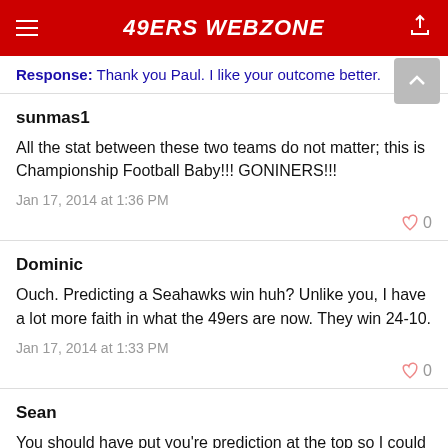49ERS WEBZONE
Response: Thank you Paul. I like your outcome better.
sunmas1
All the stat between these two teams do not matter; this is Championship Football Baby!!! GONINERS!!!
Jan 17, 2014 at 1:36 PM
Dominic
Ouch. Predicting a Seahawks win huh? Unlike you, I have a lot more faith in what the 49ers are now. They win 24-10.
Jan 17, 2014 at 1:33 PM
Sean
You should have put you're prediction at the top so I could have not wasted my time reading the article.
Jan 17, 2014 at 1:09 PM